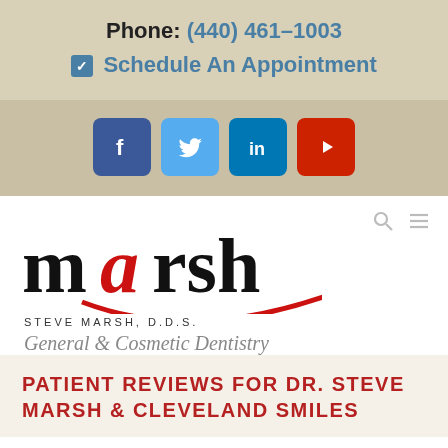Phone: (440) 461–1003
☑ Schedule An Appointment
[Figure (infographic): Social media icons: Facebook (dark blue), Twitter (light blue), LinkedIn (blue), YouTube (red)]
[Figure (logo): Marsh dental logo with stylized text 'marsh' in black and red with a red curved underline, and text 'STEVE MARSH, D.D.S.' below]
General & Cosmetic Dentistry
PATIENT REVIEWS FOR DR. STEVE MARSH & CLEVELAND SMILES